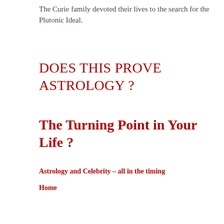The Curie family devoted their lives to the search for the Plutonic Ideal.
DOES THIS PROVE ASTROLOGY ?
The Turning Point in Your Life ?
Astrology and Celebrity – all in the timing
Home